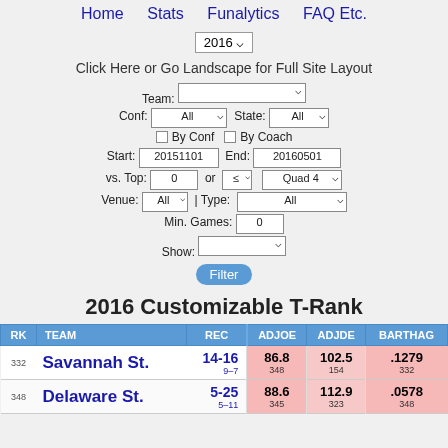Home  Stats  Funalytics  FAQ Etc.
2016 ▾
Click Here or Go Landscape for Full Site Layout
Team: [dropdown]  Conf: All  State: All  ☐ By Conf  ☐ By Coach  Start: 20151101  End: 20160501  vs. Top: 0  or ≤  Quad 4  Venue: All | Type: All  Min. Games: 0  Show: [dropdown]
Filter
2016 Customizable T-Rank
| RK | TEAM | REC | ADJOE | ADJDE | BARTHAG |
| --- | --- | --- | --- | --- | --- |
| 332 | Savannah St. | 14-16 9–7 | 86.8 348 | 102.5 154 | .1279 332 |
| 348 | Delaware St. | 5-25 5–11 | 88.6 345 | 112.9 323 | .0578 348 |